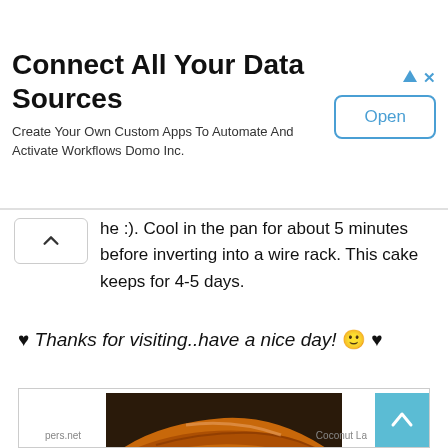[Figure (other): Advertisement banner: Connect All Your Data Sources. Create Your Own Custom Apps To Automate And Activate Workflows Domo Inc. With an Open button.]
he :). Cool in the pan for about 5 minutes before inverting into a wire rack. This cake keeps for 4-5 days.
♥ Thanks for visiting..have a nice day! 🙂 ♥
[Figure (photo): Close-up photo of a slice of cake with a golden-brown caramelized top and pale green/yellow sponge interior, on a white surface.]